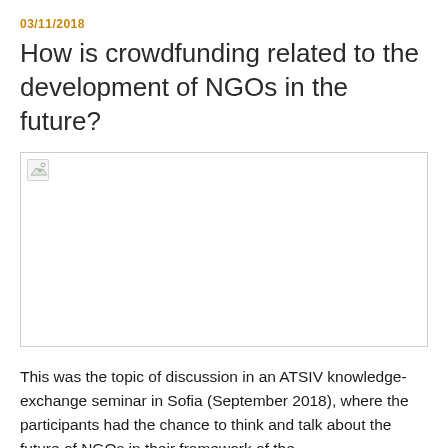03/11/2018
How is crowdfunding related to the development of NGOs in the future?
[Figure (photo): Image placeholder (broken/unloaded image) with a small broken image icon in the top-left corner]
This was the topic of discussion in an ATSIV knowledge-exchange seminar in Sofia (September 2018), where the participants had the chance to think and talk about the future of NGOs in their framework...